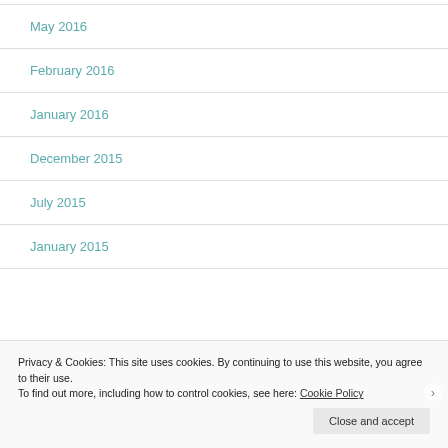May 2016
February 2016
January 2016
December 2015
July 2015
January 2015
Privacy & Cookies: This site uses cookies. By continuing to use this website, you agree to their use. To find out more, including how to control cookies, see here: Cookie Policy
Close and accept